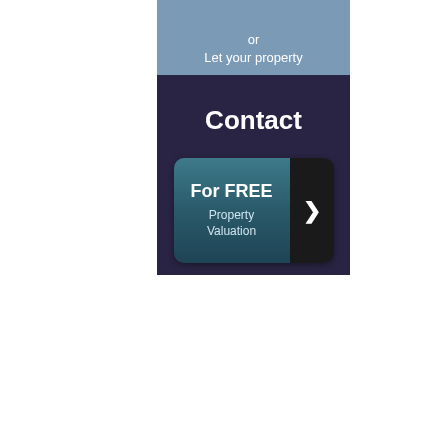or
Let your property
Contact
[Figure (infographic): A call-to-action button with teal gradient background showing 'For FREE Property Valuation' text on the left and a dark panel with a right-pointing chevron arrow on the right]